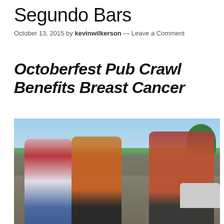Segundo Bars
October 13, 2015 by kevinwilkerson — Leave a Comment
Octoberfest Pub Crawl Benefits Breast Cancer
[Figure (photo): Group of people walking outdoors in plaid shirts, raising fists, on a sunny day with cars and trees in background]